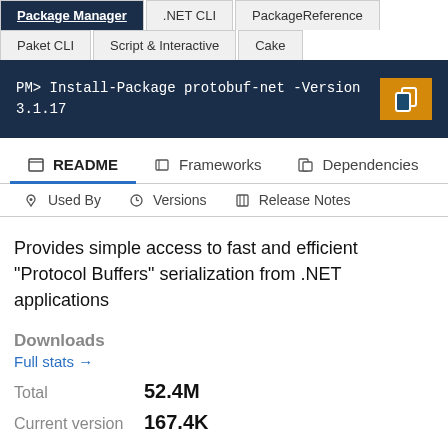Package Manager | .NET CLI | PackageReference | Paket CLI | Script & Interactive | Cake
PM> Install-Package protobuf-net -Version 3.1.17
README | Frameworks | Dependencies | Used By | Versions | Release Notes
Provides simple access to fast and efficient "Protocol Buffers" serialization from .NET applications
Downloads
Full stats →
Total   52.4M
Current version   167.4K